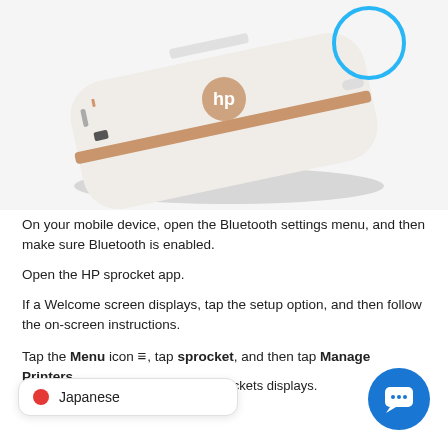[Figure (photo): HP Sprocket portable printer in white with rose gold accent stripe, shown at an angle. A blue circle highlights the power button area at the top right of the device.]
On your mobile device, open the Bluetooth settings menu, and then make sure Bluetooth is enabled.
Open the HP sprocket app.
If a Welcome screen displays, tap the setup option, and then follow the on-screen instructions.
Tap the Menu icon ≡, tap sprocket, and then tap Manage Printers.
prockets displays.